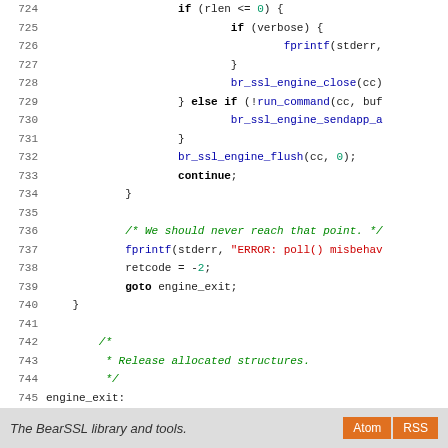[Figure (screenshot): Source code listing lines 724-752 of BearSSL library C code, showing SSL engine logic with keywords in bold, function calls in blue, string literals in red, and comments in green italic. Footer bar at bottom with 'The BearSSL library and tools.' text and Atom/RSS buttons.]